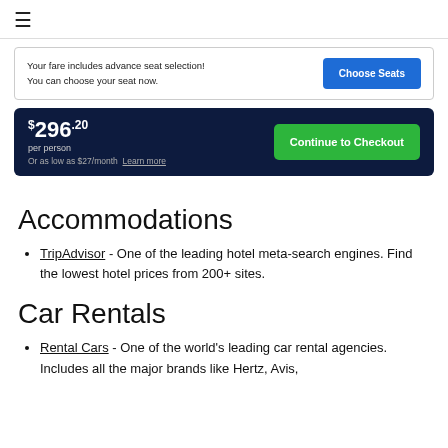≡
Your fare includes advance seat selection! You can choose your seat now.
$296.20 per person
Or as low as $27/month  Learn more
Accommodations
TripAdvisor - One of the leading hotel meta-search engines. Find the lowest hotel prices from 200+ sites.
Car Rentals
Rental Cars - One of the world's leading car rental agencies. Includes all the major brands like Hertz, Avis,